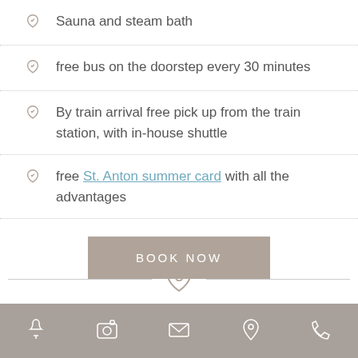Sauna and steam bath
free bus on the doorstep every 30 minutes
By train arrival free pick up from the train station, with in-house shuttle
free St. Anton summer card with all the advantages
[Figure (other): BOOK NOW button in taupe/beige color]
[Figure (logo): G shield logo divider between horizontal lines]
Navigation icons: bell, camera, envelope, location pin, phone